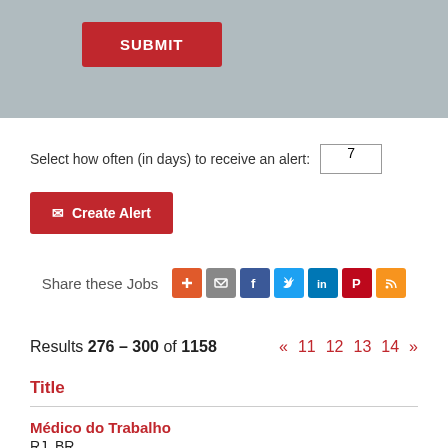[Figure (screenshot): Gray banner area with a red SUBMIT button]
Select how often (in days) to receive an alert: 7
✉ Create Alert
Share these Jobs
Results 276 – 300 of 1158  « 11 12 13 14 »
Title
Médico do Trabalho
RJ, BR